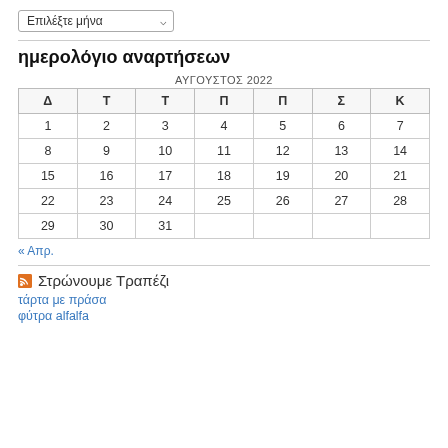Επιλέξτε μήνα
ημερολόγιο αναρτήσεων
| Δ | Τ | Τ | Π | Π | Σ | Κ |
| --- | --- | --- | --- | --- | --- | --- |
| 1 | 2 | 3 | 4 | 5 | 6 | 7 |
| 8 | 9 | 10 | 11 | 12 | 13 | 14 |
| 15 | 16 | 17 | 18 | 19 | 20 | 21 |
| 22 | 23 | 24 | 25 | 26 | 27 | 28 |
| 29 | 30 | 31 |  |  |  |  |
« Απρ.
Στρώνουμε Τραπέζι
τάρτα με πράσα
φύτρα alfalfa